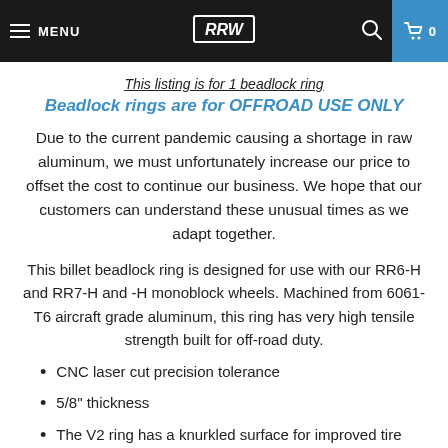MENU | RRW | 🔍 | 🛒 0
This listing is for 1 beadlock ring
Beadlock rings are for OFFROAD USE ONLY
Due to the current pandemic causing a shortage in raw aluminum, we must unfortunately increase our price to offset the cost to continue our business. We hope that our customers can understand these unusual times as we adapt together.
This billet beadlock ring is designed for use with our RR6-H and RR7-H and -H monoblock wheels. Machined from 6061-T6 aircraft grade aluminum, this ring has very high tensile strength built for off-road duty.
CNC laser cut precision tolerance
5/8" thickness
The V2 ring has a knurkled surface for improved tire